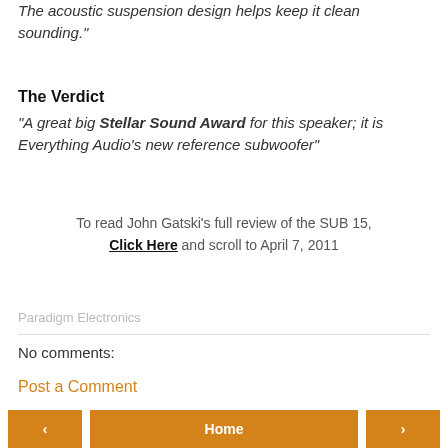The acoustic suspension design helps keep it clean sounding."
The Verdict
"A great big Stellar Sound Award for this speaker; it is Everything Audio's new reference subwoofer"
To read John Gatski's full review of the SUB 15, Click Here and scroll to April 7, 2011
Paradigm Electronics
No comments:
Post a Comment
‹ Home ›